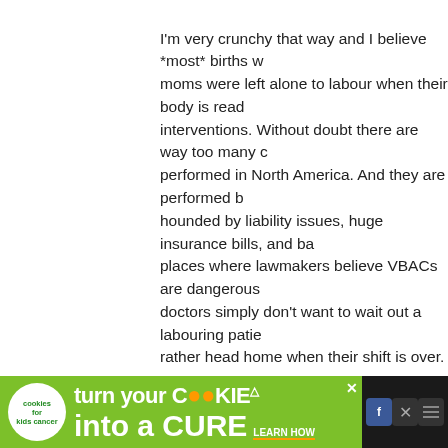I'm very crunchy that way and I believe *most* births w... moms were left alone to labour when their body is read... interventions. Without doubt there are way too many c... performed in North America. And they are performed b... hounded by liability issues, huge insurance bills, and ba... places where lawmakers believe VBACs are dangerous... doctors simply don't want to wait out a labouring patie... rather head home when their shift is over.

I think too many forget that a c/s is major surgery with... the reasons for a c/s can be flimsy. Doctors often say th... for a vaginal birth (from the ultrasound which is notorio... and demand a c section be performed. Out comes an 8...

Yes, a healthy baby and healthy mom is most important... to a healthy baby is important too.
> Reply
66. Melissa says:
JULY 12TH, 2011 AT 7:03 AM
[Figure (screenshot): Advertisement banner at bottom: 'cookies for kids cancer - turn your COOKIES into a CURE LEARN HOW' on green background with social media icons on dark background]